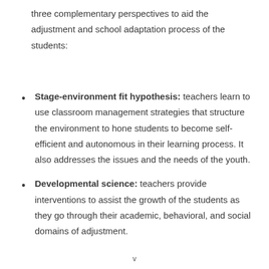three complementary perspectives to aid the adjustment and school adaptation process of the students:
Stage-environment fit hypothesis: teachers learn to use classroom management strategies that structure the environment to hone students to become self-efficient and autonomous in their learning process. It also addresses the issues and the needs of the youth.
Developmental science: teachers provide interventions to assist the growth of the students as they go through their academic, behavioral, and social domains of adjustment.
v